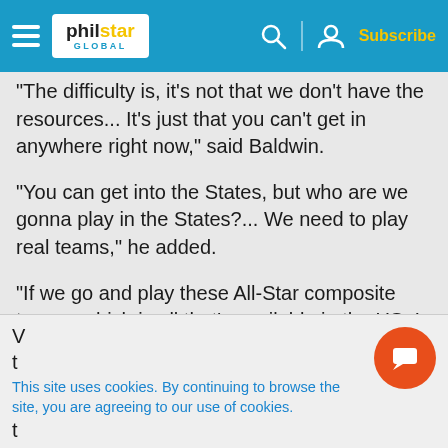philstar GLOBAL — Subscribe
"The difficulty is, it's not that we don't have the resources... It's just that you can't get in anywhere right now," said Baldwin.
"You can get into the States, but who are we gonna play in the States?... We need to play real teams," he added.
"If we go and play these All-Star composite teams, which is all that's available in the US, I think it's actually gonna be detrimental to the team,"
This site uses cookies. By continuing to browse the site, you are agreeing to our use of cookies.